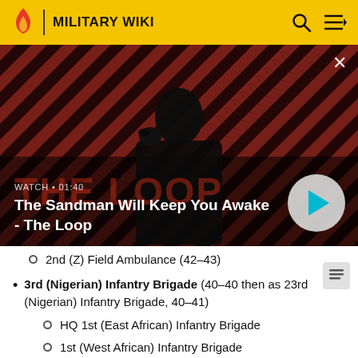MILITARY WIKI
[Figure (screenshot): Video thumbnail for 'The Sandman Will Keep You Awake - The Loop' with a person in dark clothing, a raven, and a striped red/dark background. Shows WATCH • 01:40 and a play button.]
2nd (Z) Field Ambulance (42–43)
3rd (Nigerian) Infantry Brigade (40–40 then as 23rd (Nigerian) Infantry Brigade, 40–41)
HQ 1st (East African) Infantry Brigade
1st (West African) Infantry Brigade